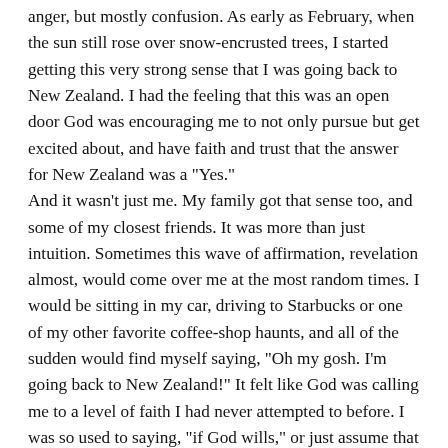anger, but mostly confusion. As early as February, when the sun still rose over snow-encrusted trees, I started getting this very strong sense that I was going back to New Zealand. I had the feeling that this was an open door God was encouraging me to not only pursue but get excited about, and have faith and trust that the answer for New Zealand was a "Yes."
And it wasn't just me. My family got that sense too, and some of my closest friends. It was more than just intuition. Sometimes this wave of affirmation, revelation almost, would come over me at the most random times. I would be sitting in my car, driving to Starbucks or one of my other favorite coffee-shop haunts, and all of the sudden would find myself saying, "Oh my gosh. I'm going back to New Zealand!" It felt like God was calling me to a level of faith I had never attempted to before. I was so used to saying, "if God wills," or just assume that I could not know anything in the future for certain. But for some reason this, this one thing, seemed to be affirmed